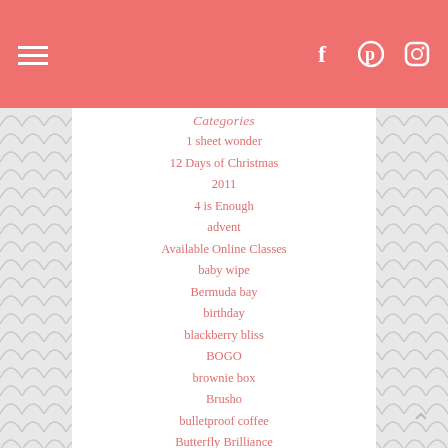Categories
1 sheet wonder
12 Days of Christmas
2011
4 is Enough
advent
Available Online Classes
baby wipe
Bermuda bay
birthday
blackberry bliss
BOGO
brownie box
Brusho
bulletproof coffee
Butterfly Brilliance
Calypso Coral
card
cards
challenges
christmas
class
craft
Creations with Christina
creme brulee
daffodil delight
Detailed Trio Punch